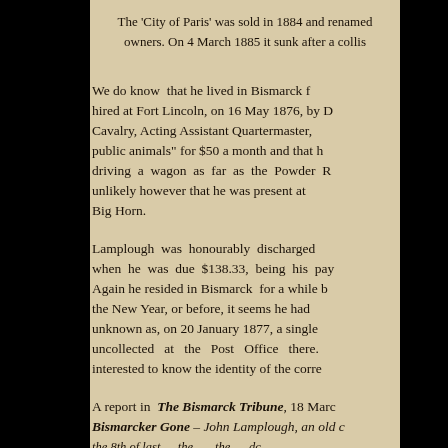The 'City of Paris' was sold in 1884 and renamed … owners. On 4 March 1885 it sunk after a collis…
We do know that he lived in Bismarck f… hired at Fort Lincoln, on 16 May 1876, by … Cavalry, Acting Assistant Quartermaster… public animals" for $50 a month and that h… driving a wagon as far as the Powder R… unlikely however that he was present at … Big Horn.
Lamplough was honourably discharged … when he was due $138.33, being his pay … Again he resided in Bismarck for a while b… the New Year, or before, it seems he had … unknown as, on 20 January 1877, a single… uncollected at the Post Office there. … interested to know the identity of the corre…
A report in The Bismarck Tribune, 18 Marc… Bismarcker Gone – John Lamplough, an old c… the 8th of last — the 8th dc…